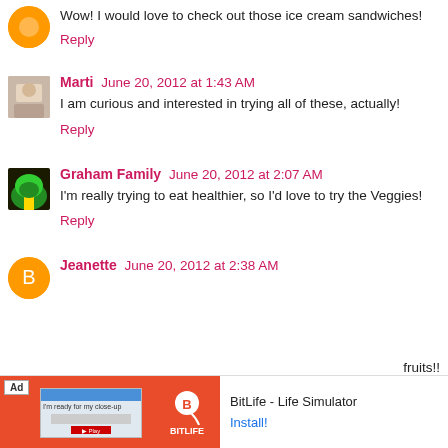Wow! I would love to check out those ice cream sandwiches!
Reply
Marti  June 20, 2012 at 1:43 AM
I am curious and interested in trying all of these, actually!
Reply
Graham Family  June 20, 2012 at 2:07 AM
I'm really trying to eat healthier, so I'd love to try the Veggies!
Reply
Jeanette  June 20, 2012 at 2:38 AM
[Figure (screenshot): Ad banner for BitLife - Life Simulator game with Install button]